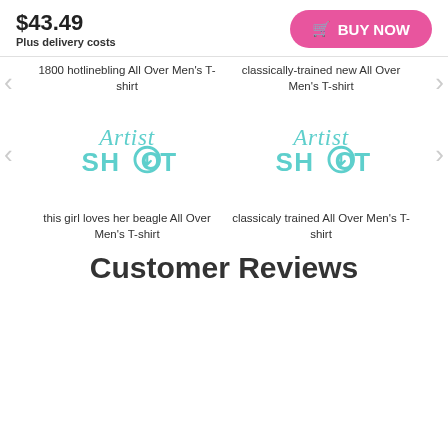$43.49
Plus delivery costs
BUY NOW
1800 hotlinebling All Over Men's T-shirt
classically-trained new All Over Men's T-shirt
[Figure (logo): Artist Shot logo in teal/turquoise color]
[Figure (logo): Artist Shot logo in teal/turquoise color]
this girl loves her beagle All Over Men's T-shirt
classicaly trained All Over Men's T-shirt
Customer Reviews